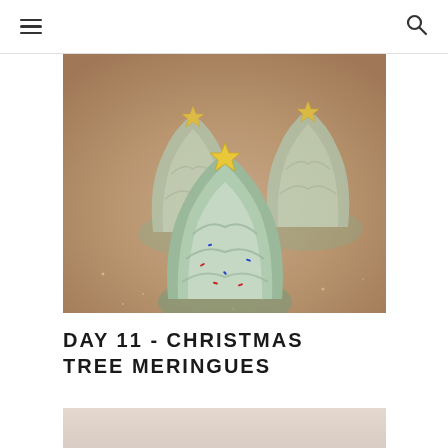[Figure (photo): Three green Christmas tree-shaped meringues topped with yellow star candies and colorful sprinkles, arranged on a sparkly rose gold surface. The front meringue is in focus with two blurred meringues in the background.]
DAY 11 - CHRISTMAS TREE MERINGUES
[Figure (photo): Partial view of a second image showing a light beige/cream background, likely another food photo partially visible at the bottom of the page.]